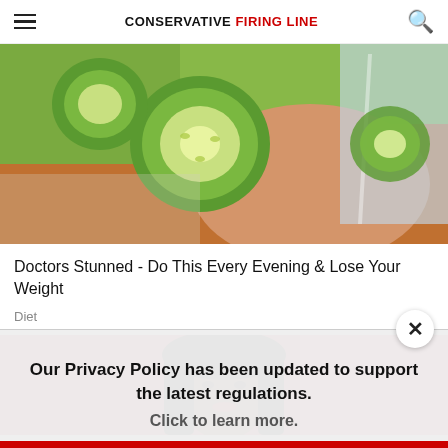CONSERVATIVE FIRING LINE
[Figure (photo): Close-up photo of cucumber slices in a glass of water held by a hand, with an orange background]
Doctors Stunned - Do This Every Evening & Lose Your Weight
Diet
[Figure (photo): Photo of a woman with dark hair and red lipstick on a pink/red background]
Our Privacy Policy has been updated to support the latest regulations. Click to learn more.